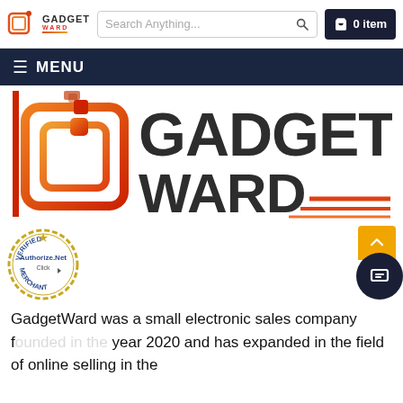[Figure (logo): GadgetWard logo small with search bar and cart showing '0 item' in top header]
≡ MENU
[Figure (logo): GadgetWard large logo with icon on left and GADGET WARD text on right with red striped accent]
[Figure (logo): Authorize.Net Verified Merchant Click badge]
GadgetWard was a small electronic sales company f... year 2020 and has expanded in the field of online selling in the